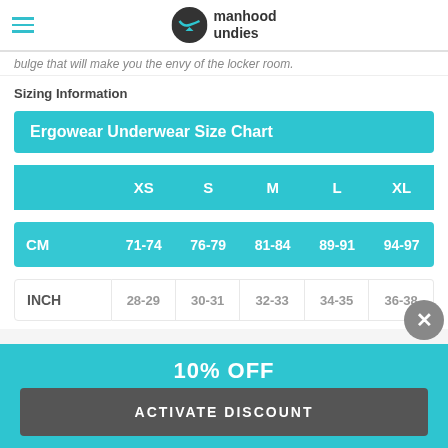manhood undies
bulge that will make you the envy of the locker room.
Sizing Information
|  | XS | S | M | L | XL |
| --- | --- | --- | --- | --- | --- |
| CM | 71-74 | 76-79 | 81-84 | 89-91 | 94-97 |
| INCH | 28-29 | 30-31 | 32-33 | 34-35 | 36-38 |
10% OFF
ACTIVATE DISCOUNT